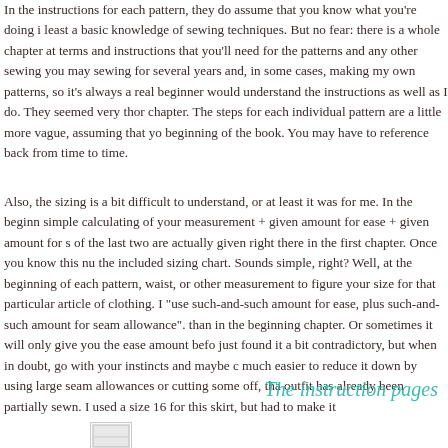In the instructions for each pattern, they do assume that you know what you're doing i least a basic knowledge of sewing techniques. But no fear: there is a whole chapter at terms and instructions that you'll need for the patterns and any other sewing you may sewing for several years and, in some cases, making my own patterns, so it's always a real beginner would understand the instructions as well as I do. They seemed very thor chapter. The steps for each individual pattern are a little more vague, assuming that yo beginning of the book. You may have to reference back from time to time.
Also, the sizing is a bit difficult to understand, or at least it was for me. In the beginn simple calculating of your measurement + given amount for ease + given amount for s of the last two are actually given right there in the first chapter. Once you know this nu the included sizing chart. Sounds simple, right? Well, at the beginning of each pattern, waist, or other measurement to figure your size for that particular article of clothing. I "use such-and-such amount for ease, plus such-and-such amount for seam allowance". than in the beginning chapter. Or sometimes it will only give you the ease amount befo just found it a bit contradictory, but when in doubt, go with your instincts and maybe c much easier to reduce it down by using large seam allowances or cutting some off, tha outfit has already been partially sewn. I used a size 16 for this skirt, but had to make it
The instruction pages
[Figure (other): Bottom of page showing partial image or figure thumbnail]